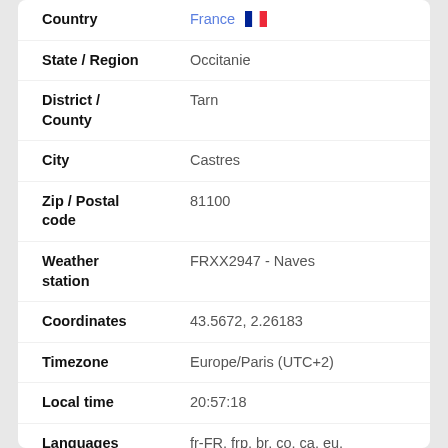Country: France
State / Region: Occitanie
District / County: Tarn
City: Castres
Zip / Postal code: 81100
Weather station: FRXX2947 - Naves
Coordinates: 43.5672, 2.26183
Timezone: Europe/Paris (UTC+2)
Local time: 20:57:18
Languages: fr-FR, frp, br, co, ca, eu,